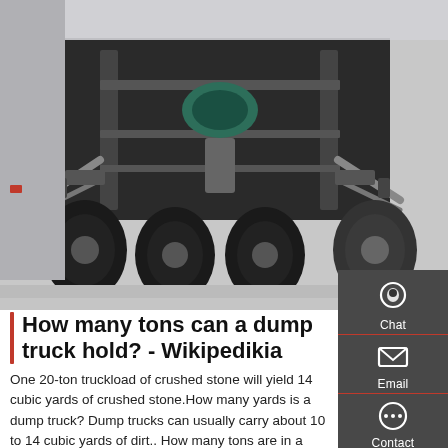[Figure (photo): Undercarriage view of a truck chassis showing axles, suspension components, driveshaft, and tires viewed from ground level]
How many tons can a dump truck hold? - Wikipedikia
One 20-ton truckload of crushed stone will yield 14 cubic yards of crushed stone.How many yards is a dump truck? Dump trucks can usually carry about 10 to 14 cubic yards of dirt.. How many tons are in a dump truck? Transfer dump trucks typically haul between 26 and 27 short tons (23.6 and 24.5 t; 23.2